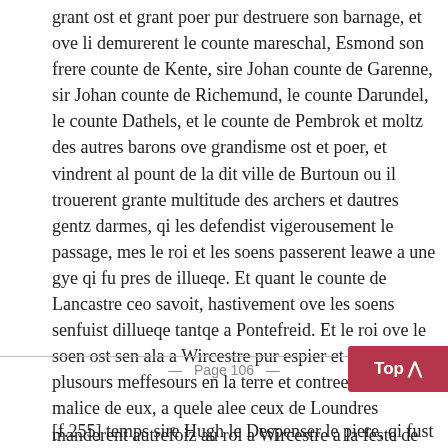grant ost et grant poer pur destruere son barnage, et ove li demurerent le counte mareschal, Esmond son frere counte de Kente, sire Johan counte de Garenne, sir Johan counte de Richemund, le counte Darundel, le counte Dathels, et le counte de Pembrok et moltz des autres barons ove grandisme ost et poer, et vindrent al pount de la dit ville de Burtoun ou il trouerent grante multitude des archers et dautres gentz darmes, qi les defendist vigerousement le passage, mes le roi et les soens passerent leawe a une gye qi fu pres de illueqe. Et quant le counte de Lancastre ceo savoit, hastivement ove les soens senfuist dillueqe tantqe a Pontefreid. Et le roi ove le soen ost sen ala a Wircestre pur espier et enquere plusours meffesours en la terre et contreestere la malice de eux, a quele alee ceux de Loundres manderent autrefoiz au roi a Wircestre a la feste de seint Lucie iijc iiijxx hommes a pee bien armez. En cel
Page 106
[f.255] temps sire Hugh le Despenser le piere, qi fust